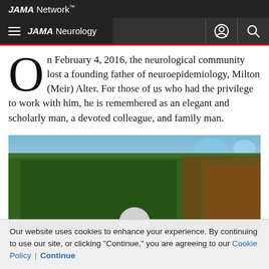JAMA Network
JAMA Neurology
On February 4, 2016, the neurological community lost a founding father of neuroepidemiology, Milton (Meir) Alter. For those of us who had the privilege to work with him, he is remembered as an elegant and scholarly man, a devoted colleague, and family man.
[Figure (photo): Outdoor photograph showing a person partially visible at the bottom center, with lush green foliage and blue sky in the background, and orange/red autumn colors on the right side.]
Our website uses cookies to enhance your experience. By continuing to use our site, or clicking "Continue," you are agreeing to our Cookie Policy | Continue